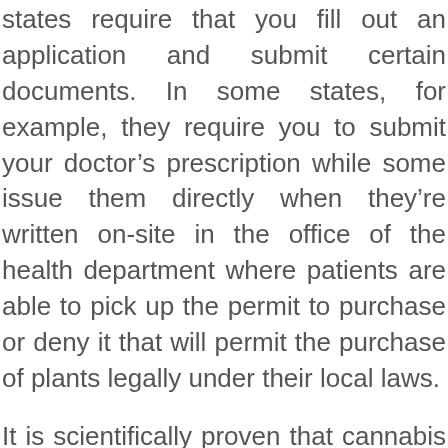states require that you fill out an application and submit certain documents. In some states, for example, they require you to submit your doctor's prescription while some issue them directly when they're written on-site in the office of the health department where patients are able to pick up the permit to purchase or deny it that will permit the purchase of plants legally under their local laws.
It is scientifically proven that cannabis can be used to treat epilepsy sufferers. Patients who qualify can take as little as 8 grams or more and can weigh up to several lbs. subject to the place they reside within the state.